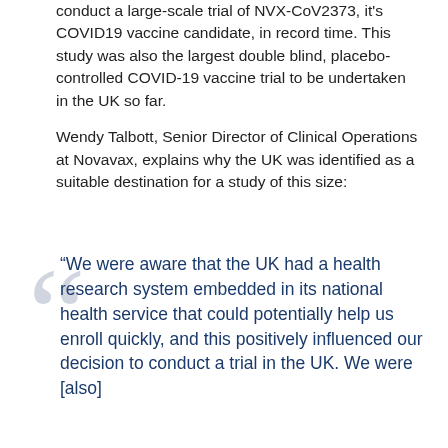conduct a large-scale trial of NVX-CoV2373, it's COVID19 vaccine candidate, in record time. This study was also the largest double blind, placebo-controlled COVID-19 vaccine trial to be undertaken in the UK so far.
Wendy Talbott, Senior Director of Clinical Operations at Novavax, explains why the UK was identified as a suitable destination for a study of this size:
“We were aware that the UK had a health research system embedded in its national health service that could potentially help us enroll quickly, and this positively influenced our decision to conduct a trial in the UK. We were [also]